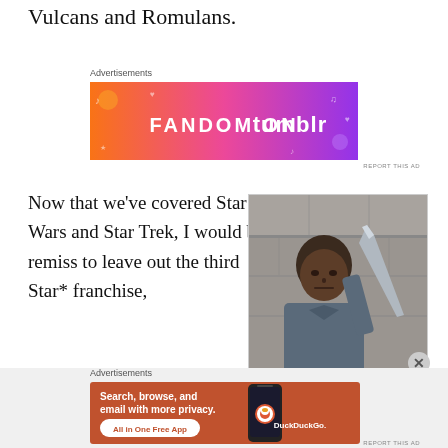Vulcans and Romulans.
[Figure (infographic): Fandom on Tumblr advertisement banner with colorful orange-to-purple gradient background and music/doodle icons]
Now that we've covered Star Wars and Star Trek, I would be remiss to leave out the third Star* franchise,
[Figure (photo): Photo of a bald Black man holding a large blade/sword, wearing a grey jacket, against a stone wall background]
[Figure (infographic): DuckDuckGo advertisement: Search, browse, and email with more privacy. All in One Free App. Shows phone with DuckDuckGo logo.]